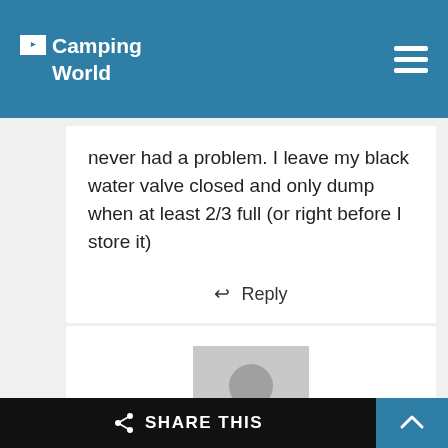Camping World
never had a problem. I leave my black water valve closed and only dump when at least 2/3 full (or right before I store it)
Reply
[Figure (illustration): Gray user avatar silhouette placeholder image]
Carrie
SHARE THIS